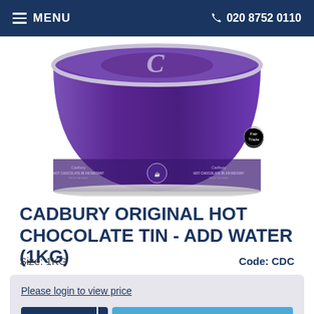MENU  020 8752 0110
[Figure (photo): Cadbury hot chocolate 1kg purple tin, showing the top and sides of the tin with Cadbury branding and Fairtrade logo. Text on tin reads 'HOT CHOCOLATE IN AN INSTANT. Stir in hot water.']
CADBURY ORIGINAL HOT CHOCOLATE TIN - ADD WATER (1kg)
Size: 1KG
Code: CDC
Please login to view price